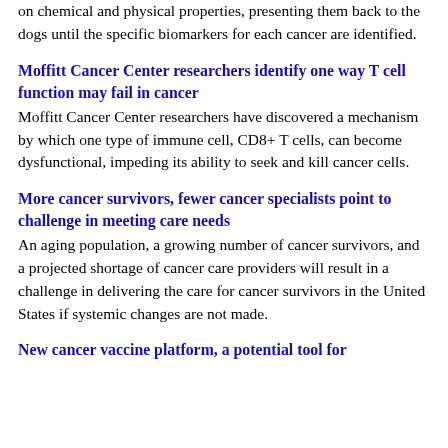on chemical and physical properties, presenting them back to the dogs until the specific biomarkers for each cancer are identified.
Moffitt Cancer Center researchers identify one way T cell function may fail in cancer
Moffitt Cancer Center researchers have discovered a mechanism by which one type of immune cell, CD8+ T cells, can become dysfunctional, impeding its ability to seek and kill cancer cells.
More cancer survivors, fewer cancer specialists point to challenge in meeting care needs
An aging population, a growing number of cancer survivors, and a projected shortage of cancer care providers will result in a challenge in delivering the care for cancer survivors in the United States if systemic changes are not made.
New cancer vaccine platform, a potential tool for